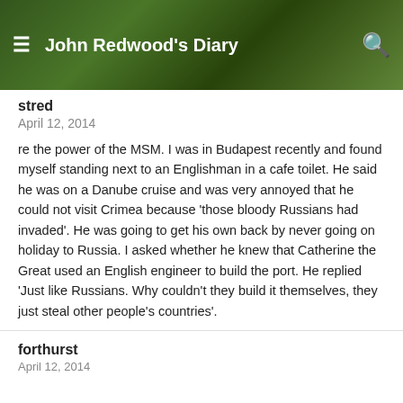John Redwood's Diary
stred
April 12, 2014
re the power of the MSM. I was in Budapest recently and found myself standing next to an Englishman in a cafe toilet. He said he was on a Danube cruise and was very annoyed that he could not visit Crimea because 'those bloody Russians had invaded'. He was going to get his own back by never going on holiday to Russia. I asked whether he knew that Catherine the Great used an English engineer to build the port. He replied 'Just like Russians. Why couldn't they build it themselves, they just steal other people's countries'.
forthurst
April 12, 2014